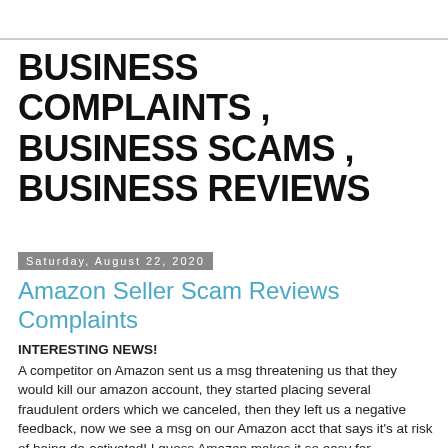BUSINESS COMPLAINTS , BUSINESS SCAMS , BUSINESS REVIEWS
Saturday, August 22, 2020
Amazon Seller Scam Reviews Complaints
INTERESTING NEWS!
A competitor on Amazon sent us a msg threatening us that they would kill our amazon account, they started placing several fraudulent orders which we canceled, then they left us a negative feedback, now we see a msg on our Amazon acct that says it's at risk of being de-activated! I guess Amazon makes it so easy for competitors to kick others out of Amazon! Amazon needs to prevent this from happening ASAP.